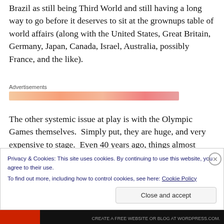Brazil as still being Third World and still having a long way to go before it deserves to sit at the grownups table of world affairs (along with the United States, Great Britain, Germany, Japan, Canada, Israel, Australia, possibly France, and the like).
[Figure (other): Advertisements banner — a gradient orange/pink horizontal bar labeled 'Advertisements']
The other systemic issue at play is with the Olympic Games themselves.  Simply put, they are huge, and very expensive to stage.  Even 40 years ago, things almost
Privacy & Cookies: This site uses cookies. By continuing to use this website, you agree to their use.
To find out more, including how to control cookies, see here: Cookie Policy
Close and accept